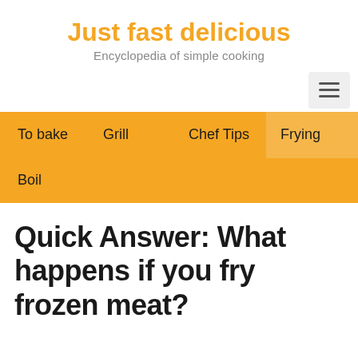Just fast delicious
Encyclopedia of simple cooking
To bake
Grill
Chef Tips
Frying
Boil
Quick Answer: What happens if you fry frozen meat?